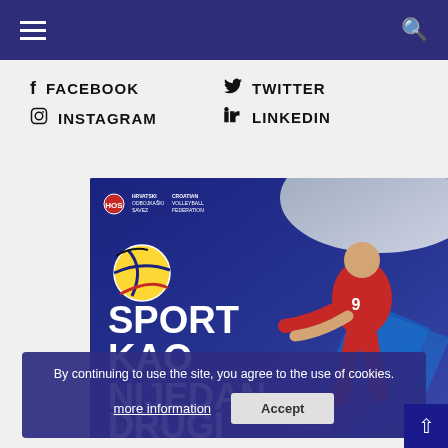Navigation bar with hamburger menu and search icon
f FACEBOOK
y TWITTER
INSTAGRAM
in LINKEDIN
[Figure (photo): Croatian Volleyball Federation promotional image showing a volleyball player in a red Croatian jersey hitting a ball, with text 'SPORT KAO NIJEDAN DRUGI' and hashtag #321Hrvatska and Croatian Volleyball Federation logo]
By continuing to use the site, you agree to the use of cookies.
more information
Accept